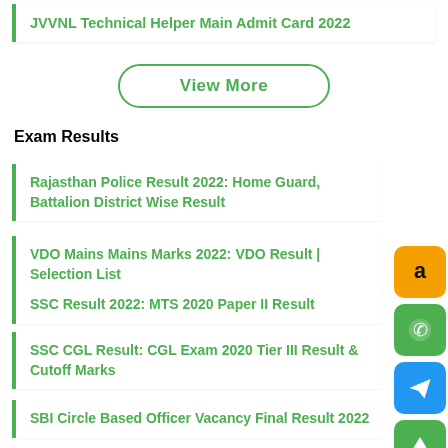JVVNL Technical Helper Main Admit Card 2022
View More
Exam Results
Rajasthan Police Result 2022: Home Guard, Battalion District Wise Result
VDO Mains Mains Marks 2022: VDO Result | Selection List
SSC Result 2022: MTS 2020 Paper II Result
SSC CGL Result: CGL Exam 2020 Tier III Result & Cutoff Marks
SBI Circle Based Officer Vacancy Final Result 2022